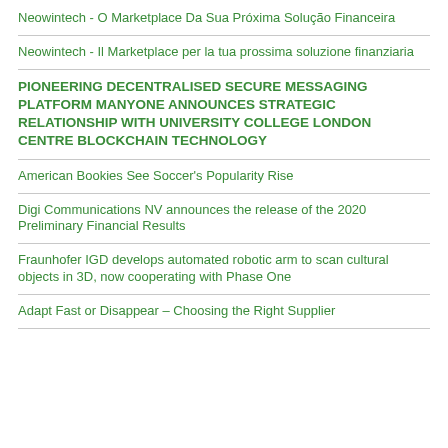Neowintech - O Marketplace Da Sua Próxima Solução Financeira
Neowintech - Il Marketplace per la tua prossima soluzione finanziaria
PIONEERING DECENTRALISED SECURE MESSAGING PLATFORM MANYONE ANNOUNCES STRATEGIC RELATIONSHIP WITH UNIVERSITY COLLEGE LONDON CENTRE BLOCKCHAIN TECHNOLOGY
American Bookies See Soccer's Popularity Rise
Digi Communications NV announces the release of the 2020 Preliminary Financial Results
Fraunhofer IGD develops automated robotic arm to scan cultural objects in 3D, now cooperating with Phase One
Adapt Fast or Disappear – Choosing the Right Supplier